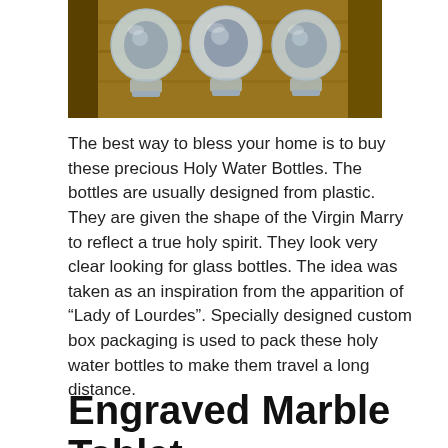[Figure (photo): Three glass holy water bottles with rounded globes on top, sitting on a wooden surface. The bottles have metallic/silver religious figures or medallions visible inside the glass globes.]
The best way to bless your home is to buy these precious Holy Water Bottles. The bottles are usually designed from plastic. They are given the shape of the Virgin Marry to reflect a true holy spirit. They look very clear looking for glass bottles. The idea was taken as an inspiration from the apparition of “Lady of Lourdes”. Specially designed custom box packaging is used to pack these holy water bottles to make them travel a long distance.
Engraved Marble Tablet